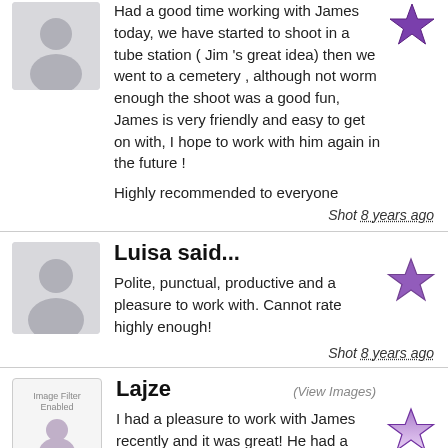Had a good time working with James today, we have started to shoot in a tube station ( Jim 's great idea) then we went to a cemetery , although not worm enough the shoot was a good fun, James is very friendly and easy to get on with, I hope to work with him again in the future !

Highly recommended to everyone
Shot 8 years ago
Luisa said...
Polite, punctual, productive and a pleasure to work with. Cannot rate highly enough!
Shot 8 years ago
Lajze
(View Images)
I had a pleasure to work with James recently and it was great! He had a vision and idea I liked and it all started from there. I enjoyed shooting with him as he is very friendly, professional and easy to work with. He created relaxed atmosphere on set - despite the theme being a bit disturbing and uneasy. His pre-shoot communications were clear and sent quickly –he updated me everyday 🙂

I'm looking forward to our next shoot and I highly recommend working with him.